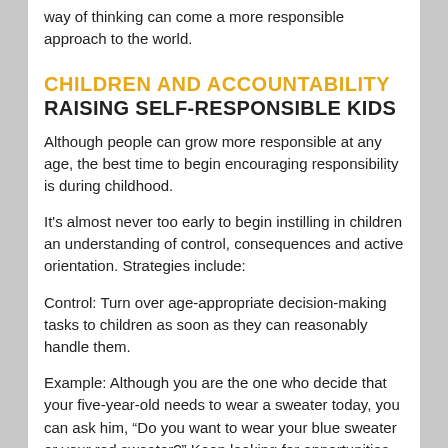way of thinking can come a more responsible approach to the world.
CHILDREN AND ACCOUNTABILITY
RAISING SELF-RESPONSIBLE KIDS
Although people can grow more responsible at any age, the best time to begin encouraging responsibility is during childhood.
It's almost never too early to begin instilling in children an understanding of control, consequences and active orientation. Strategies include:
Control: Turn over age-appropriate decision-making tasks to children as soon as they can reasonably handle them.
Example: Although you are the one who decide that your five-year-old needs to wear a sweater today, you can ask him, “Do you want to wear your blue sweater or your red sweater?” Keep looking for opportunities for your child to experience a sense of